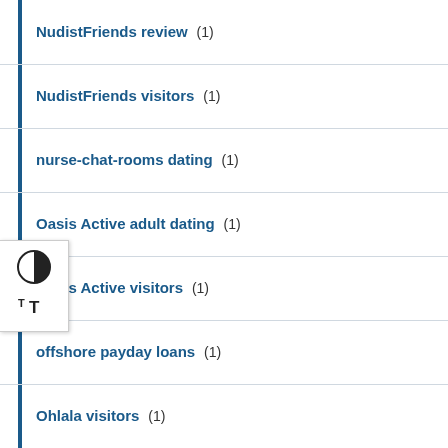NudistFriends review (1)
NudistFriends visitors (1)
nurse-chat-rooms dating (1)
Oasis Active adult dating (1)
Oasis Active visitors (1)
offshore payday loans (1)
Ohlala visitors (1)